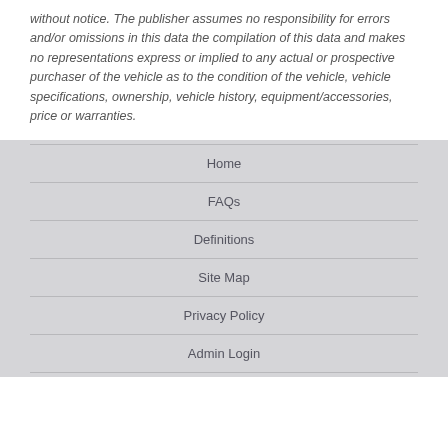without notice. The publisher assumes no responsibility for errors and/or omissions in this data the compilation of this data and makes no representations express or implied to any actual or prospective purchaser of the vehicle as to the condition of the vehicle, vehicle specifications, ownership, vehicle history, equipment/accessories, price or warranties.
Home
FAQs
Definitions
Site Map
Privacy Policy
Admin Login